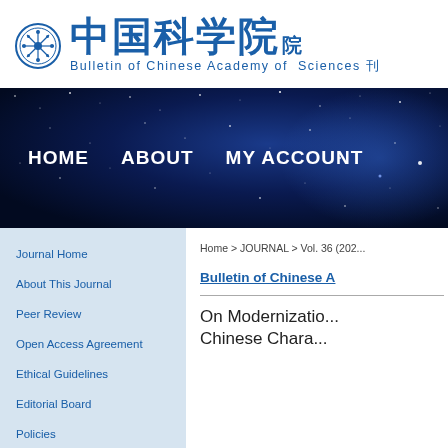中国科学院 院刊 Bulletin of Chinese Academy of Sciences 刊
[Figure (screenshot): Navigation banner with dark blue starry night sky background containing menu links: HOME, ABOUT, MY ACCOUNT]
Journal Home
About This Journal
Peer Review
Open Access Agreement
Ethical Guidelines
Editorial Board
Policies
Contact Us
Home > JOURNAL > Vol. 36 (202...
Bulletin of Chinese A...
On Modernization Chinese Chara...